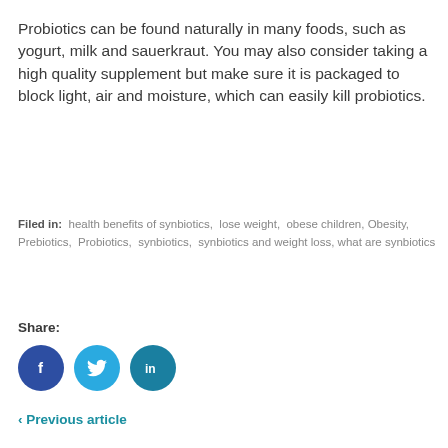Probiotics can be found naturally in many foods, such as yogurt, milk and sauerkraut. You may also consider taking a high quality supplement but make sure it is packaged to block light, air and moisture, which can easily kill probiotics.
Filed in: health benefits of synbiotics, lose weight, obese children, Obesity, Prebiotics, Probiotics, synbiotics, synbiotics and weight loss, what are synbiotics
Share:
[Figure (other): Social share icons: Facebook (dark blue circle with f), Twitter (light blue circle with bird), LinkedIn (teal circle with in)]
‹ Previous article
Related Po